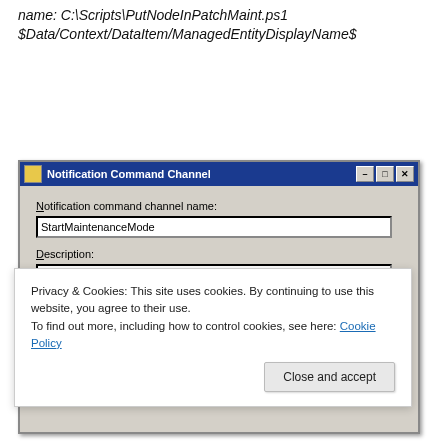name: C:\Scripts\PutNodeInPatchMaint.ps1 $Data/Context/DataItem/ManagedEntityDisplayName$
[Figure (screenshot): Windows dialog box titled 'Notification Command Channel' showing a form with 'Notification command channel name:' field filled with 'StartMaintenanceMode' and a 'Description:' text area below. Standard Windows minimize, restore, close buttons in title bar.]
Privacy & Cookies: This site uses cookies. By continuing to use this website, you agree to their use.
To find out more, including how to control cookies, see here: Cookie Policy
Close and accept